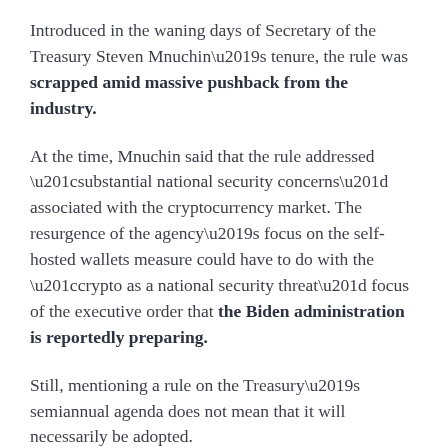Introduced in the waning days of Secretary of the Treasury Steven Mnuchin’s tenure, the rule was scrapped amid massive pushback from the industry.
At the time, Mnuchin said that the rule addressed “substantial national security concerns” associated with the cryptocurrency market. The resurgence of the agency’s focus on the self-hosted wallets measure could have to do with the “crypto as a national security threat” focus of the executive order that the Biden administration is reportedly preparing.
Still, mentioning a rule on the Treasury’s semiannual agenda does not mean that it will necessarily be adopted.